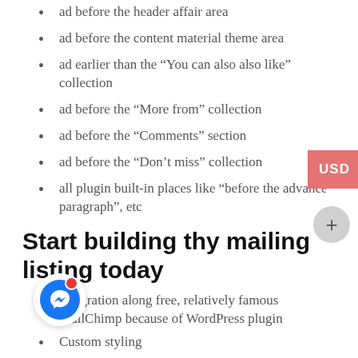ad before the header affair area
ad before the content material theme area
ad earlier than the “You can also also like” collection
ad before the “More from” collection
ad before the “Comments” section
ad before the “Don’t miss” collection
all plugin built-in places like “before the advance paragraph”, etc
Start building thy mailing listing today
Integration along free, relatively famous MailChimp because of WordPress plugin
Custom styling
Place pay subscription shape afterwards put up content, rd grid collection, inward listing series then internal ars
Front-end Submission